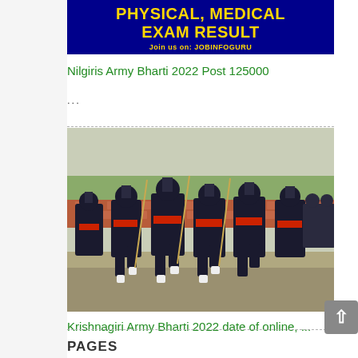[Figure (illustration): Blue banner with gold text reading 'PHYSICAL, MEDICAL EXAM RESULT' and subtitle 'Join us on: JOBINFOGURU']
Nilgiris Army Bharti 2022 Post 125000
...
[Figure (photo): Army officers in dark uniforms with red sashes marching in a parade, holding sticks/canes, with a brick wall and trees in the background]
Krishnagiri Army Bharti 2022 date of online, ...
PAGES